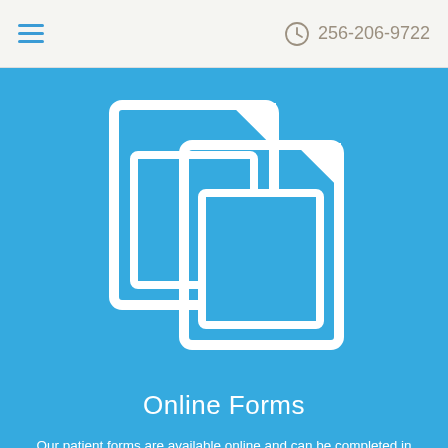☰  256-206-9722
[Figure (illustration): Two overlapping document/page icons in white on a blue background, representing online forms.]
Online Forms
Our patient forms are available online and can be completed in the privacy of your own home or office.
Offi... Office Hours
Our Re...